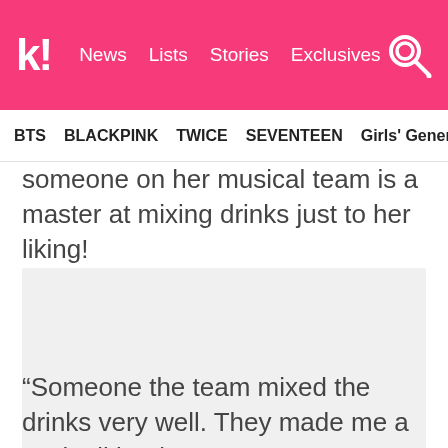k! News  Lists  Stories  Exclusives
BTS  BLACKPINK  TWICE  SEVENTEEN  Girls' Generation
someone on her musical team is a master at mixing drinks just to her liking!
[Figure (photo): Image placeholder, light gray background]
“Someone the team mixed the drinks very well. They made me a cocktail but it was so sweet! I